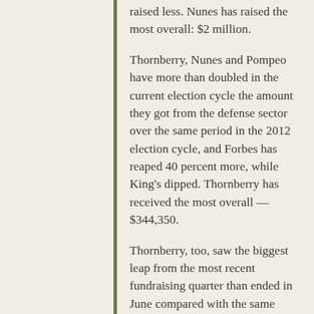raised less. Nunes has raised the most overall: $2 million.
Thornberry, Nunes and Pompeo have more than doubled in the current election cycle the amount they got from the defense sector over the same period in the 2012 election cycle, and Forbes has reaped 40 percent more, while King's dipped. Thornberry has received the most overall — $344,350.
Thornberry, too, saw the biggest leap from the most recent fundraising quarter than ended in June compared with the same quarter in the 2012 cycle, 84 percent. Forbes and Pompeo also saw increases over that period.